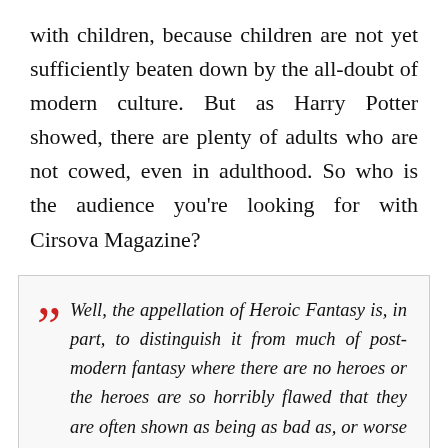with children, because children are not yet sufficiently beaten down by the all-doubt of modern culture. But as Harry Potter showed, there are plenty of adults who are not cowed, even in adulthood. So who is the audience you're looking for with Cirsova Magazine?
Well, the appellation of Heroic Fantasy is, in part, to distinguish it from much of post-modern fantasy where there are no heroes or the heroes are so horribly flawed that they are often shown as being as bad as, or worse than, the villains. While we have the occasional...